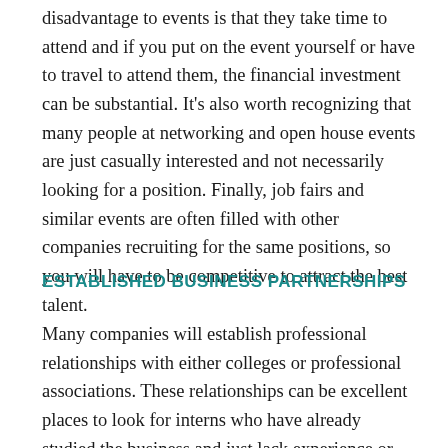disadvantage to events is that they take time to attend and if you put on the event yourself or have to travel to attend them, the financial investment can be substantial. It's also worth recognizing that many people at networking and open house events are just casually interested and not necessarily looking for a position. Finally, job fairs and similar events are often filled with other companies recruiting for the same positions, so you will have to be competitive to attract the best talent.
ESTABLISHED BUSINESS PARTNERSHIPS
Many companies will establish professional relationships with either colleges or professional associations. These relationships can be excellent places to look for interns who have already studied the business and just lack experience or specialized talent. For example, a hospital may recruit